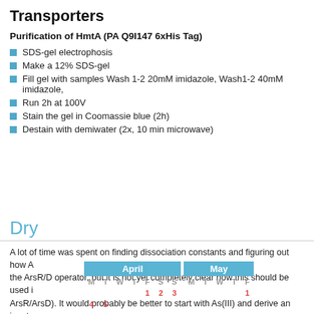Transporters
Purification of HmtA (PA Q9I147 6xHis Tag)
SDS-gel electrophosis
Make a 12% SDS-gel
Fill gel with samples Wash 1-2 20mM imidazole, Wash1-2 40mM imidazole,
Run 2h at 100V
Stain the gel in Coomassie blue (2h)
Destain with demiwater (2x, 10 min microwave)
Dry
A lot of time was spent on finding dissociation constants and figuring out how A the ArsR/D operator, but it is not yet completely clear how this should be used i ArsR/ArsD). It would probably be better to start with As(III) and derive an input
| April | May |
| --- | --- |
| M T W T F S S | M T W T F |
| 1 2 3 4 5 | 1 |